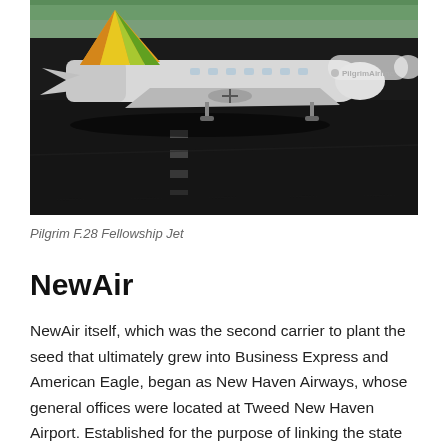[Figure (photo): A Pilgrim Airlines F.28 Fellowship Jet aircraft on a tarmac, featuring a colorful orange, yellow, and green tail livery. The 'Pilgrim Airlines' name is visible on the fuselage. The image shows the plane against a dark runway surface.]
Pilgrim F.28 Fellowship Jet
NewAir
NewAir itself, which was the second carrier to plant the seed that ultimately grew into Business Express and American Eagle, began as New Haven Airways, whose general offices were located at Tweed New Haven Airport. Established for the purpose of linking the state with the major New York airports and thus billing itself as "Connecticut's Airline Connection," it operated a few 18-